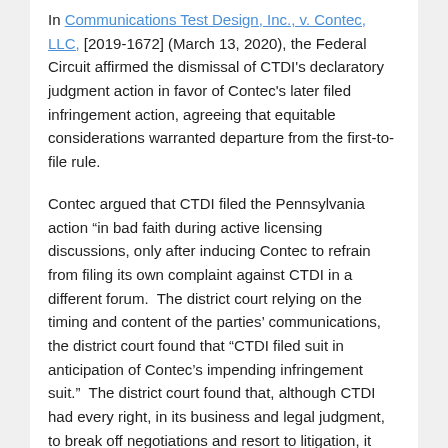In Communications Test Design, Inc., v. Contec, LLC, [2019-1672] (March 13, 2020), the Federal Circuit affirmed the dismissal of CTDI's declaratory judgment action in favor of Contec's later filed infringement action, agreeing that equitable considerations warranted departure from the first-to-file rule.
Contec argued that CTDI filed the Pennsylvania action "in bad faith during active licensing discussions, only after inducing Contec to refrain from filing its own complaint against CTDI in a different forum.  The district court relying on the timing and content of the parties' communications, the district court found that "CTDI filed suit in anticipation of Contec's impending infringement suit."  The district court found that, although CTDI had every right, in its business and legal judgment, to break off negotiations and resort to litigation, it was not permitted to string Contec along just long enough to get the judicial drop and file this lawsuit in its own backyard.
The Federal Circuit noted that as long as the district court acts in accordance with the purposes of the Declaratory...